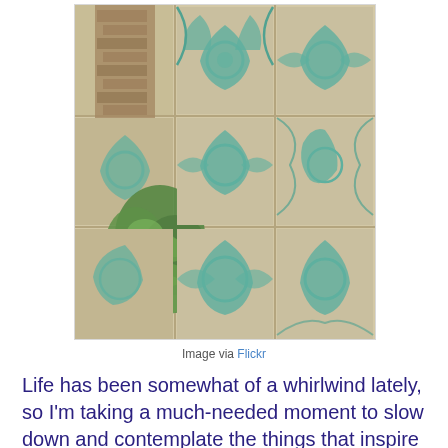[Figure (photo): Photograph of ornate teal/turquoise patterned ceramic tiles on a wall, with a gap revealing old brick and green ivy or weeds growing through the crack.]
Image via Flickr
Life has been somewhat of a whirlwind lately, so I'm taking a much-needed moment to slow down and contemplate the things that inspire me. Pretty patterned tiles and ceramics have been a feature in recent weeks so here are some of my